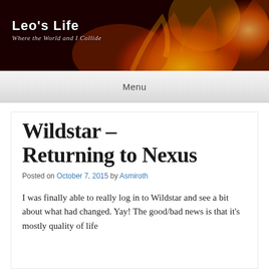Leo's Life — Where the World and I Collide
Menu
Wildstar – Returning to Nexus
Posted on October 7, 2015 by Asmiroth
I was finally able to really log in to Wildstar and see a bit about what had changed.  Yay!  The good/bad news is that it's mostly quality of life